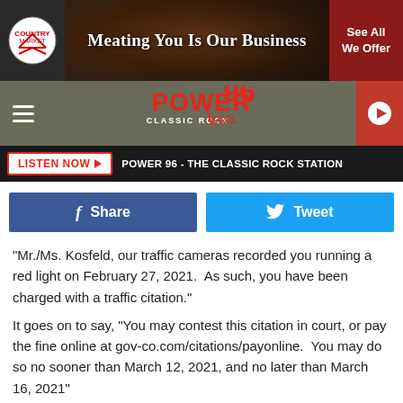[Figure (screenshot): Ad banner for a butcher/meat business: logo on left, center says 'Meating You Is Our Business' with meat imagery background, red CTA button 'See All We Offer' on right]
[Figure (screenshot): Power 96 Classic Rock KGCL radio station navigation bar with hamburger menu, Power 96 logo, and red play button]
[Figure (screenshot): Listen Now button bar with text 'POWER 96 - THE CLASSIC ROCK STATION']
[Figure (screenshot): Social sharing buttons: Facebook Share and Twitter Tweet]
"Mr./Ms. Kosfeld, our traffic cameras recorded you running a red light on February 27, 2021.  As such, you have been charged with a traffic citation."
It goes on to say, "You may contest this citation in court, or pay the fine online at gov-co.com/citations/payonline.  You may do so no sooner than March 12, 2021, and no later than March 16, 2021"